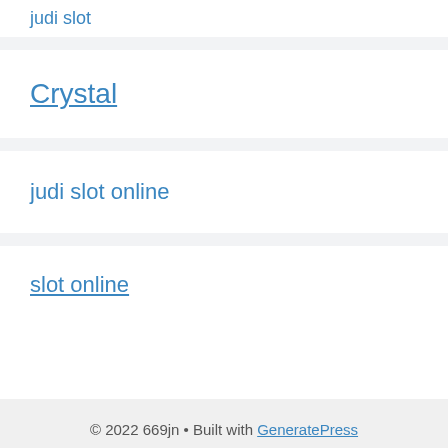judi slot
Crystal
judi slot online
slot online
© 2022 669jn • Built with GeneratePress